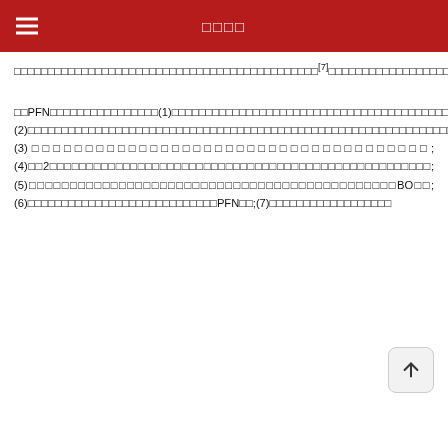□□□□
□□□□□□□□□□□□□□□□□□□□□□□□□□□□□□□□□□□□□□□□□□□□□[7]□□□□□□□□□□□□□□□□□□□□□□□□□□□□□□□□□□□□□□□<75□□□□□□□□□□□□□□□□□□□□□[11]□□□□□□□□□□□□□□□□□□□□□□□□□□□□□□□□□□□□□□□□□□□□□□□□□□□□□□□□□□□□□□□□□□□□□□□□□□□□□□□□□□□□□□□□□□□□□□□□□□□□□[12]□□□□□□□□□□□□□□□□□□□□□□□□□□□□□□□□□□□□□□84.7%□□□□□□□□□□□□□□□□□□□□□□□□□□□□□□□□□□□□□□□□□□□□□□□□□□□□[13]□□□□□□□□□□□□□□□□□□□□□□□□□□□□□□□□□□□□□□□□□□□□□□□□□□□□□□□□□□□□□□□□□
□□PFN□□□□□□□□□□□□□□□□(1)□□□□□□□□□□□□□□□□□□□□□□□□□□□□□□□□□□□□□□□□□□□□□□□□□□□□;(2)□□□□□□□□□□□□□□□□□□□□□□□□□□□□□□□□□□□□□□□□□□□□□□□□□□□□□□□□□□□□□□□□□□□□;(3)□□□□□□□□□□□□□□□□□□□□□□□□□□□□□□□□□□□□□;(4)□□2□□□□□□□□□□□□□□□□□□□□□□□□□□□□□□□□□□□□□□□□□□□□□□□□□□□□;(5)□□□□□□□□□□□□□□□□□□□□□□□□□□□□□□□□□□□□□□□□□□□□□BO□□;(6)□□□□□□□□□□□□□□□□□□□□□□□□□□□□PFN□□;(7)□□□□□□□□□□□□□□□□□□